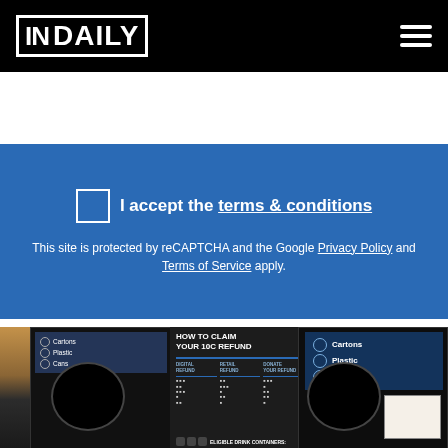IN DAILY
I accept the terms & conditions
This site is protected by reCAPTCHA and the Google Privacy Policy and Terms of Service apply.
SUBSCRIBE
[Figure (photo): Photo of recycling refund machines with signs reading 'HOW TO CLAIM YOUR 10c REFUND', showing sections for Cartons, Plastic, and Cans with digital refund, retail refund, and donate your refund options. Bottom text reads 'ELIGIBLE DRINK CONTAINERS'.]